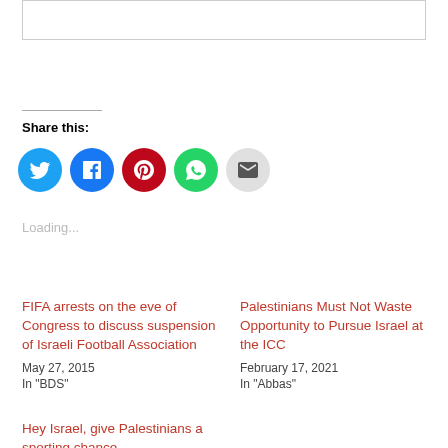[Figure (other): Top bordered box (partial image area)]
Share this:
[Figure (infographic): Social sharing icons: Twitter (blue), Facebook (blue), Pinterest (red), WhatsApp (green), Email (gray)]
Loading...
FIFA arrests on the eve of Congress to discuss suspension of Israeli Football Association
May 27, 2015
In "BDS"
Palestinians Must Not Waste Opportunity to Pursue Israel at the ICC
February 17, 2021
In "Abbas"
Hey Israel, give Palestinians a sporting chance